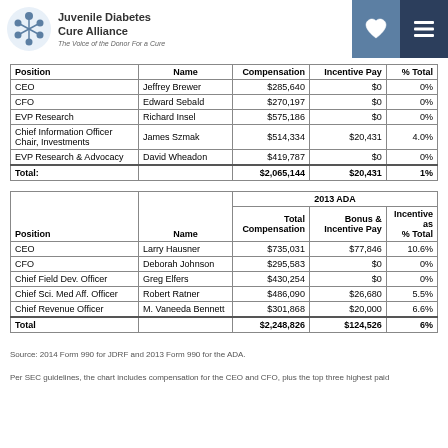Juvenile Diabetes Cure Alliance – The Voice of the Donor For a Cure
| Position | Name | Compensation | Incentive Pay | % Total |
| --- | --- | --- | --- | --- |
| CEO | Jeffrey Brewer | $285,640 | $0 | 0% |
| CFO | Edward Sebald | $270,197 | $0 | 0% |
| EVP Research | Richard Insel | $575,186 | $0 | 0% |
| Chief Information Officer
Chair, Investments | James Szmak | $514,334 | $20,431 | 4.0% |
| EVP Research & Advocacy | David Wheadon | $419,787 | $0 | 0% |
| Total: |  | $2,065,144 | $20,431 | 1% |
| Position | Name | 2013 ADA – Total Compensation | 2013 ADA – Bonus & Incentive Pay | 2013 ADA – Incentive as % Total |
| --- | --- | --- | --- | --- |
| CEO | Larry Hausner | $735,031 | $77,846 | 10.6% |
| CFO | Deborah Johnson | $295,583 | $0 | 0% |
| Chief Field Dev. Officer | Greg Elfers | $430,254 | $0 | 0% |
| Chief Sci. Med Aff. Officer | Robert Ratner | $486,090 | $26,680 | 5.5% |
| Chief Revenue Officer | M. Vaneeda Bennett | $301,868 | $20,000 | 6.6% |
| Total |  | $2,248,826 | $124,526 | 6% |
Source: 2014 Form 990 for JDRF and 2013 Form 990 for the ADA.
Per SEC guidelines, the chart includes compensation for the CEO and CFO, plus the top three highest paid